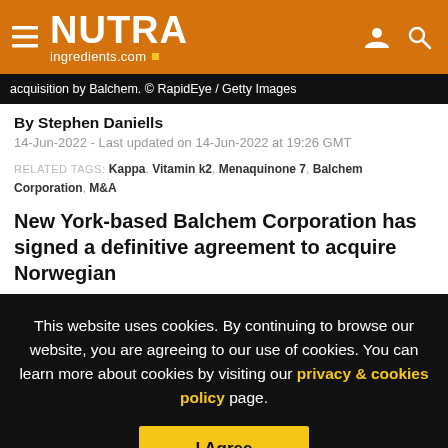NUTRAingredients.com
acquisition by Balchem. © RapidEye / Getty Images
By Stephen Daniells
14-Jun-2022 - Last updated on 14-Jun-2022 at 19:26 GMT
RELATED TAGS: Kappa, Vitamin k2, Menaquinone 7, Balchem Corporation, M&A
New York-based Balchem Corporation has signed a definitive agreement to acquire Norwegian
This website uses cookies. By continuing to browse our website, you are agreeing to our use of cookies. You can learn more about cookies by visiting our privacy & cookies policy page.